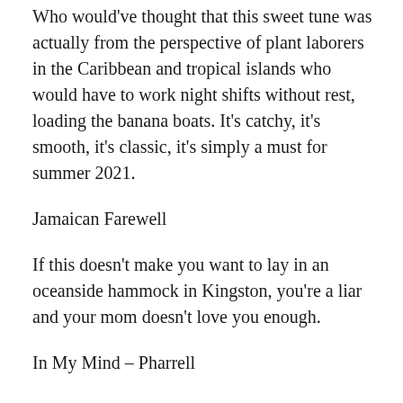Who would've thought that this sweet tune was actually from the perspective of plant laborers in the Caribbean and tropical islands who would have to work night shifts without rest, loading the banana boats. It's catchy, it's smooth, it's classic, it's simply a must for summer 2021.
Jamaican Farewell
If this doesn't make you want to lay in an oceanside hammock in Kingston, you're a liar and your mom doesn't love you enough.
In My Mind – Pharrell